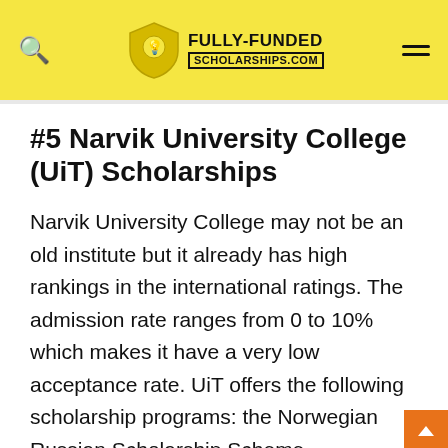FULLY-FUNDED SCHOLARSHIPS.COM
#5 Narvik University College (UiT) Scholarships
Narvik University College may not be an old institute but it already has high rankings in the international ratings. The admission rate ranges from 0 to 10% which makes it have a very low acceptance rate. UiT offers the following scholarship programs: the Norwegian Russian Scholarship Scheme